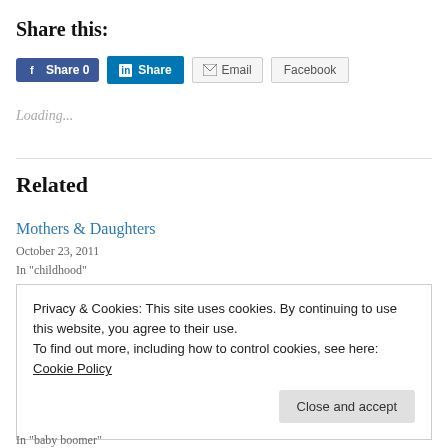Share this:
[Figure (other): Social share buttons: Facebook Share 0, LinkedIn Share, Email, Facebook]
Loading...
Related
Mothers & Daughters
October 23, 2011
In "childhood"
Privacy & Cookies: This site uses cookies. By continuing to use this website, you agree to their use.
To find out more, including how to control cookies, see here: Cookie Policy
Close and accept
In "baby boomer"